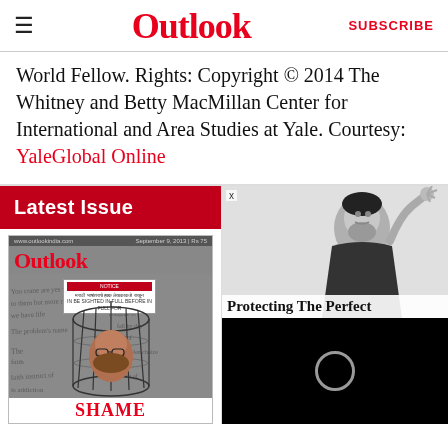Outlook | SUBSCRIBE
World Fellow. Rights: Copyright © 2014 The Whitney and Betty MacMillan Center for International and Area Studies at Yale. Courtesy: YaleGlobal Online
Latest Issue
[Figure (photo): Outlook magazine cover showing a figure in a birdcage with 'SHAME' text at bottom, handwritten scribbles in background]
[Figure (photo): Black and white photo of a religious cleric with raised hand, with text 'Protecting The Perfect' overlaid at bottom]
[Figure (photo): Black background with a white ring/circle, resembling a solar eclipse or planet]